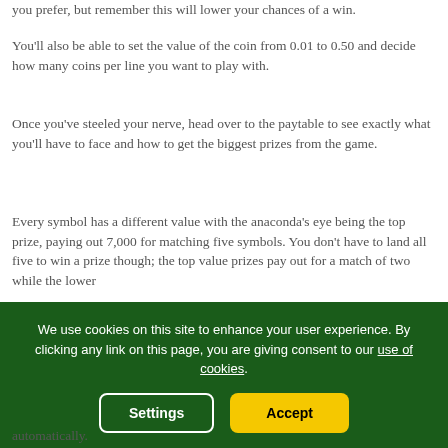you prefer, but remember this will lower your chances of a win.
You’ll also be able to set the value of the coin from 0.01 to 0.50 and decide how many coins per line you want to play with.
Once you’ve steeled your nerve, head over to the paytable to see exactly what you’ll have to face and how to get the biggest prizes from the game.
Every symbol has a different value with the anaconda’s eye being the top prize, paying out 7,000 for matching five symbols. You don’t have to land all five to win a prize though; the top value prizes pay out for a match of two while the lower
We use cookies on this site to enhance your user experience. By clicking any link on this page, you are giving consent to our use of cookies.
automatically.